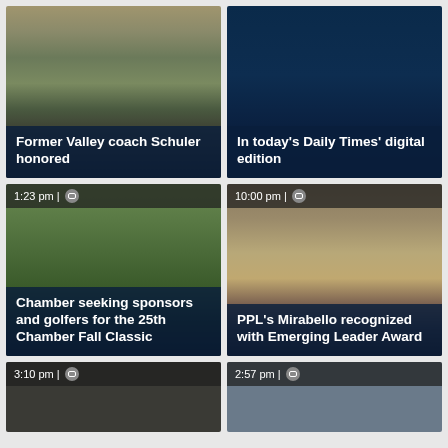[Figure (photo): News article card: group of people holding a plaque outdoors. Title overlay: 'Former Valley coach Schuler honored']
[Figure (photo): News article card: dark navy background. Title overlay: 'In today’s Daily Times’ digital edition']
[Figure (photo): News article card: group of four men posing at a golf event with Chamber of Commerce banner. Timestamp: '1:23 pm'. Title overlay: 'Chamber seeking sponsors and golfers for the 25th Chamber Fall Classic']
[Figure (photo): News article card: headshot of blonde woman. Timestamp: '10:00 pm'. Title overlay: 'PPL’s Mirabello recognized with Emerging Leader Award']
[Figure (photo): News article card: dark image, partially visible. Timestamp: '3:10 pm']
[Figure (photo): News article card: outdoor scene with people. Timestamp: '2:57 pm']